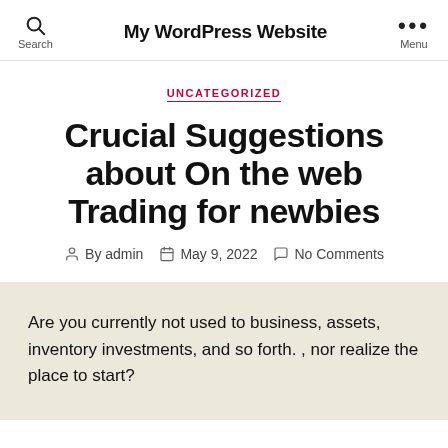My WordPress Website
UNCATEGORIZED
Crucial Suggestions about On the web Trading for newbies
By admin  May 9, 2022  No Comments
Are you currently not used to business, assets, inventory investments, and so forth. , nor realize the place to start?